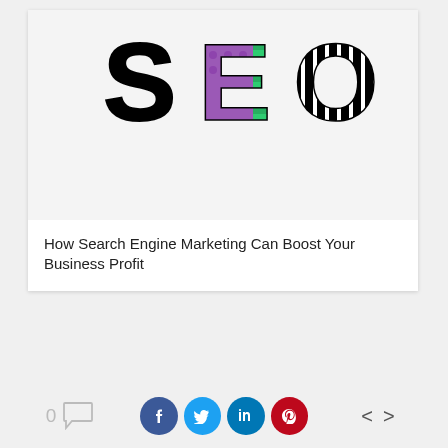[Figure (photo): Decorative 3D letters spelling SEO on a white background. S is black and white houndstooth pattern, E is purple and green patterned, O is black and white striped pattern.]
How Search Engine Marketing Can Boost Your Business Profit